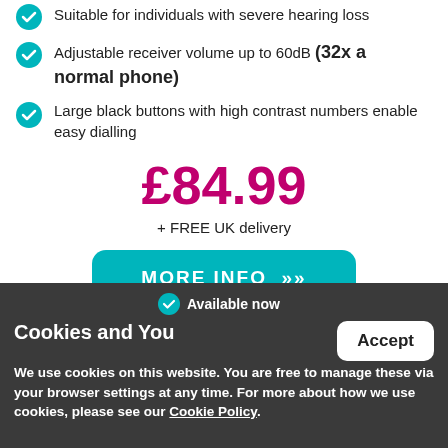Suitable for individuals with severe hearing loss
Adjustable receiver volume up to 60dB (32x a normal phone)
Large black buttons with high contrast numbers enable easy dialling
£84.99
+ FREE UK delivery
MORE INFO »
Available now
Cookies and You
We use cookies on this website. You are free to manage these via your browser settings at any time. For more about how we use cookies, please see our Cookie Policy.
Accept